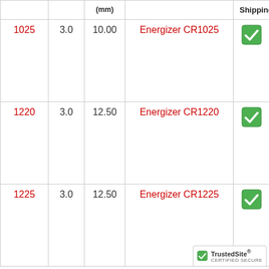|  |  | (mm) |  | Shipping? |
| --- | --- | --- | --- | --- |
| 1025 | 3.0 | 10.00 | Energizer CR1025 | ✓ |
| 1220 | 3.0 | 12.50 | Energizer CR1220 | ✓ |
| 1225 | 3.0 | 12.50 | Energizer CR1225 | ✓ |